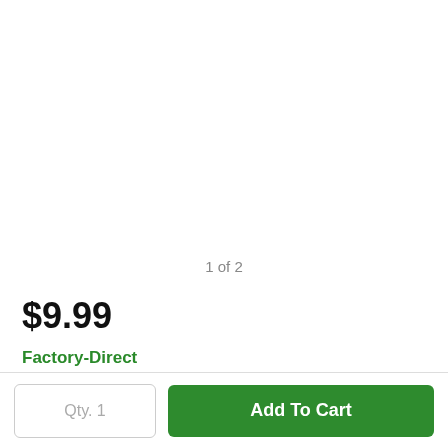1 of 2
$9.99
Factory-Direct
Ships in 2-5 Business Days
Qty. 1
Add To Cart